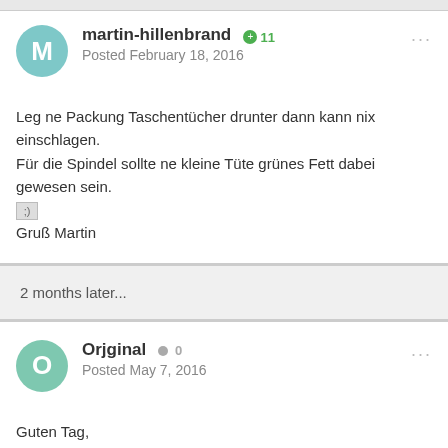martin-hillenbrand +11
Posted February 18, 2016
Leg ne Packung Taschentücher drunter dann kann nix einschlagen.
Für die Spindel sollte ne kleine Tüte grünes Fett dabei gewesen sein.
[;)
Gruß Martin
2 months later...
Orjginal 0
Posted May 7, 2016
Guten Tag,
entschuldige das ich das alte Thema nochmal neu öffne.
Ich habe das gleiche Problem, finde allerdings keine Anleitung zum
Einbau bzw. zum Zusammensetzen. Kann jemand hierüber bescheid?